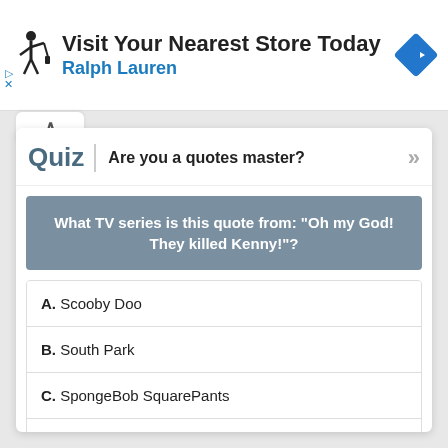[Figure (screenshot): Ralph Lauren advertisement banner with polo player logo, text 'Visit Your Nearest Store Today' and 'Ralph Lauren', with a blue navigation arrow icon]
Quiz | Are you a quotes master?
What TV series is this quote from: "Oh my God! They killed Kenny!"?
A. Scooby Doo
B. South Park
C. SpongeBob SquarePants
D. The Simpsons